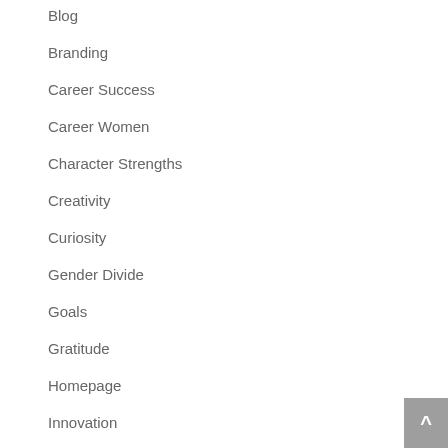Blog
Branding
Career Success
Career Women
Character Strengths
Creativity
Curiosity
Gender Divide
Goals
Gratitude
Homepage
Innovation
Leadership
Mindful Monday
Negotiation